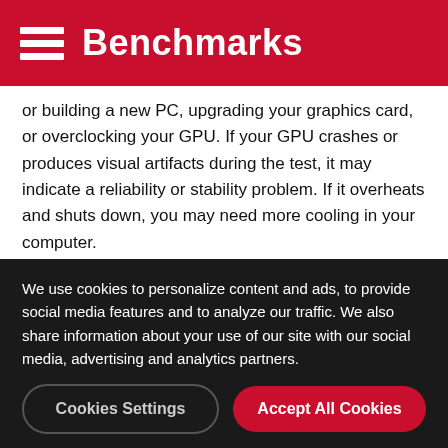Benchmarks
or building a new PC, upgrading your graphics card, or overclocking your GPU. If your GPU crashes or produces visual artifacts during the test, it may indicate a reliability or stability problem. If it overheats and shuts down, you may need more cooling in your computer.
3DMark now includes four levels of stress testing based on the Sky Diver, Fire Strike, Fire Strike Extreme, and Fire Strike Ultra benchmarks.
Each 3DMark Stress Test runs in a loop without pausing for loading screens or other breaks. In 3DMark Advanced
We use cookies to personalize content and ads, to provide social media features and to analyze our traffic. We also share information about your use of our site with our social media, advertising and analytics partners.
Cookies Settings
Accept All Cookies